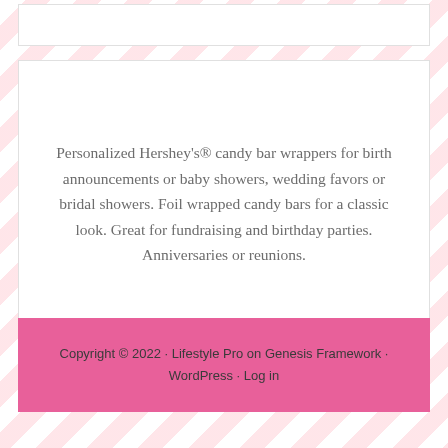Personalized Hershey's® candy bar wrappers for birth announcements or baby showers, wedding favors or bridal showers. Foil wrapped candy bars for a classic look. Great for fundraising and birthday parties. Anniversaries or reunions.
Copyright © 2022 · Lifestyle Pro on Genesis Framework · WordPress · Log in